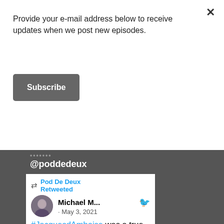Provide your e-mail address below to receive updates when we post new episodes.
Subscribe
× (close button)
@poddedeux
Pod De Deux Retweeted
Michael M... · May 3, 2021
#JacquesdAmboise was a true hero to dance. His career took him to @nycballet, the movies, & beyond — but the magic he created when he founded @NationalDance is the legacy I'll most remember.